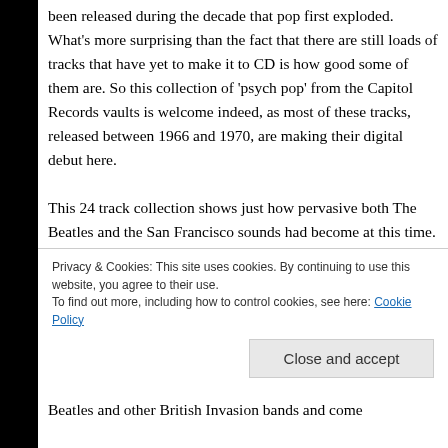been released during the decade that pop first exploded. What's more surprising than the fact that there are still loads of tracks that have yet to make it to CD is how good some of them are. So this collection of 'psych pop' from the Capitol Records vaults is welcome indeed, as most of these tracks, released between 1966 and 1970, are making their digital debut here.

This 24 track collection shows just how pervasive both The Beatles and the San Francisco sounds had become at this time. There are even those who...
Privacy & Cookies: This site uses cookies. By continuing to use this website, you agree to their use.
To find out more, including how to control cookies, see here: Cookie Policy
Close and accept
Beatles and other British Invasion bands and come